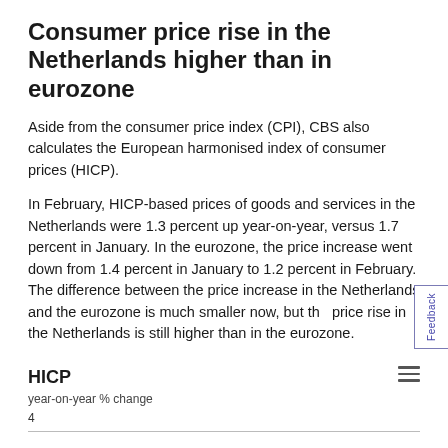Consumer price rise in the Netherlands higher than in eurozone
Aside from the consumer price index (CPI), CBS also calculates the European harmonised index of consumer prices (HICP).
In February, HICP-based prices of goods and services in the Netherlands were 1.3 percent up year-on-year, versus 1.7 percent in January. In the eurozone, the price increase went down from 1.4 percent in January to 1.2 percent in February. The difference between the price increase in the Netherlands and the eurozone is much smaller now, but the price rise in the Netherlands is still higher than in the eurozone.
HICP
year-on-year % change